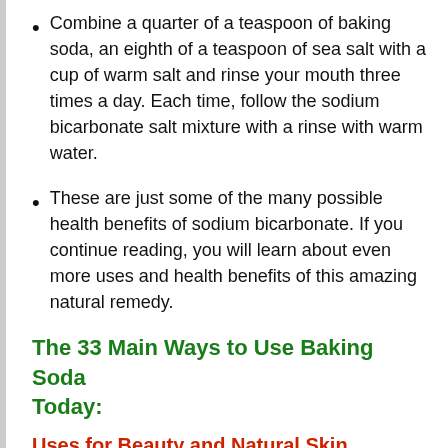Combine a quarter of a teaspoon of baking soda, an eighth of a teaspoon of sea salt with a cup of warm salt and rinse your mouth three times a day. Each time, follow the sodium bicarbonate salt mixture with a rinse with warm water.
These are just some of the many possible health benefits of sodium bicarbonate. If you continue reading, you will learn about even more uses and health benefits of this amazing natural remedy.
The 33 Main Ways to Use Baking Soda Today:
Uses for Beauty and Natural Skin
1. Natural Deodorant: